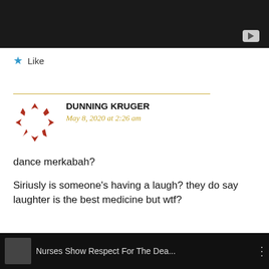[Figure (screenshot): Dark video player thumbnail area with YouTube play button icon in bottom right]
★ Like
DUNNING KRUGER
May 8, 2020 at 2:26 am
dance merkabah?
Siriusly is someone's having a laugh? they do say laughter is the best medicine but wtf?
[Figure (screenshot): Dark video player bar at bottom with thumbnail and title 'Nurses Show Respect For The Dea...']